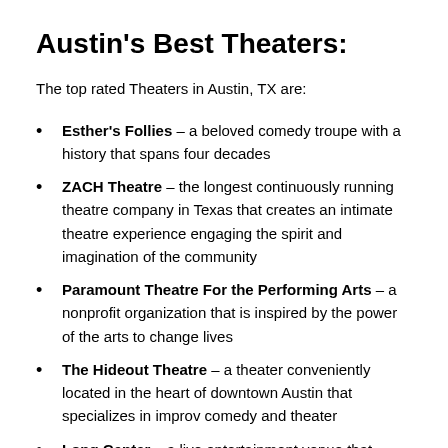Austin's Best Theaters:
The top rated Theaters in Austin, TX are:
Esther's Follies – a beloved comedy troupe with a history that spans four decades
ZACH Theatre – the longest continuously running theatre company in Texas that creates an intimate theatre experience engaging the spirit and imagination of the community
Paramount Theatre For the Performing Arts – a nonprofit organization that is inspired by the power of the arts to change lives
The Hideout Theatre – a theater conveniently located in the heart of downtown Austin that specializes in improv comedy and theater
Long Center – a live entertainment venue that embraces…